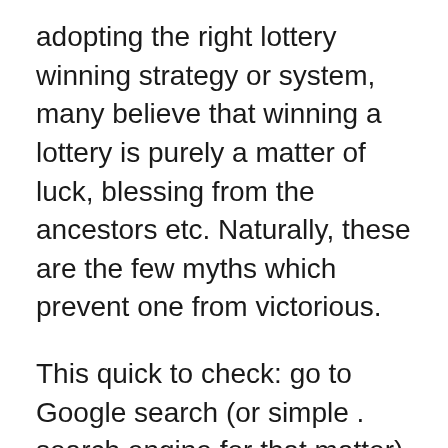adopting the right lottery winning strategy or system, many believe that winning a lottery is purely a matter of luck, blessing from the ancestors etc. Naturally, these are the few myths which prevent one from victorious.
This quick to check: go to Google search (or simple . search engine for that matter) and type the name of the lottery site you desire to check and add this: +review for query thread. The results will more likely be numerous. If too many negative reviews come out, or no results at all, look at another online lottery service service provider.
I am not an fan of, nor will i ever are convinced that you spend some money on, 'scratch off' stylo free games, lottery odds